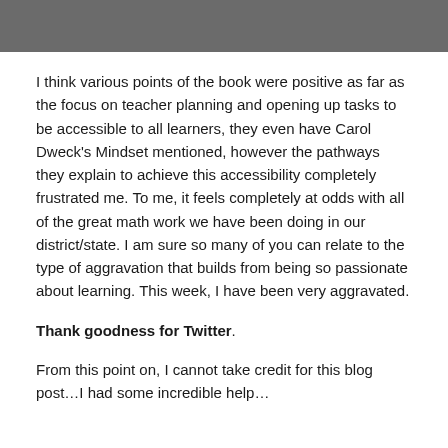[Figure (photo): Partial photo of a person, cropped at top of page, gray tones]
I think various points of the book were positive as far as the focus on teacher planning and opening up tasks to be accessible to all learners, they even have Carol Dweck's Mindset mentioned, however the pathways they explain to achieve this accessibility completely frustrated me. To me, it feels completely at odds with all of the great math work we have been doing in our district/state. I am sure so many of you can relate to the type of aggravation that builds from being so passionate about learning. This week, I have been very aggravated.
Thank goodness for Twitter.
From this point on, I cannot take credit for this blog post…I had some incredible help…